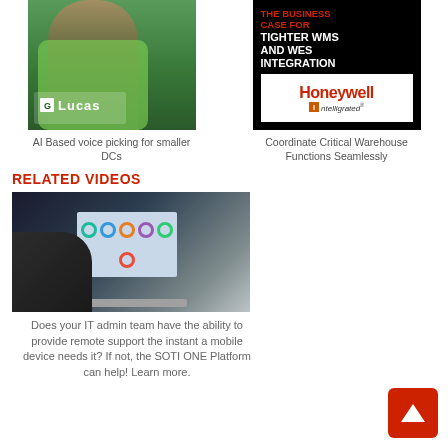[Figure (photo): Lucas Systems ad: woman in green vest with headset in warehouse, Lucas logo at bottom left]
AI Based voice picking for smaller DCs
[Figure (photo): Honeywell Intelligrated ad: black background with red/white text 'The Business Case for Tighter WMS and WES Integration', Honeywell Intelligrated logo on white panel below]
Coordinate Critical Warehouse Functions Seamlessly
RELATED VIDEOS
[Figure (photo): Person using laptop showing dashboard with donut charts and analytics]
Does your IT admin team have the ability to provide remote support the instant a mobile device needs it? If not, the SOTI ONE Platform can help! Learn more.